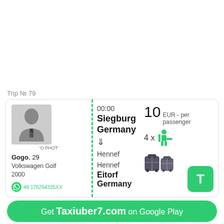Trip № 79
[Figure (infographic): Ride-sharing trip card for TaxiUber7 showing driver Gogo age 29, Volkswagen Golf 2000, trip from Siegburg Germany to Hennef and Eitorf Germany at 00:00, price 10 EUR per passenger, 4 seats, luggage icon, WhatsApp number 49 176264335XX]
Get Taxiuber7.com on Google Play